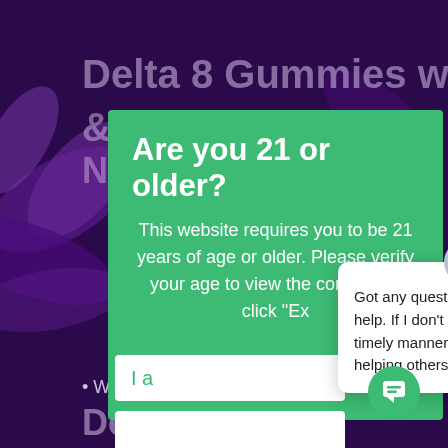[Figure (screenshot): Dark purple background with cannabis plant imagery]
Delta 8 Gummies with HHC
Are you 21 or older?
This website requires you to be 21 years of age or older. Please verify your age to view the content, or click "Ex..."
I a...
Got any questions? I'm happy to help. If I don't respond within a timely manner I may be busy helping others.
Warning: May cause psychotropic effect
Delta 1...